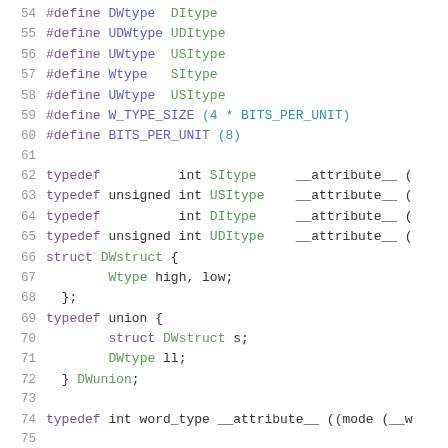Source code listing lines 54-75, C preprocessor macros and type definitions
[Figure (screenshot): C source code with syntax highlighting showing #define macros and typedef declarations for types DWtype, UDWtype, UWtype, Wtype, W_TYPE_SIZE, BITS_PER_UNIT, SItype, USItype, DItype, UDItype, DWstruct, DWunion, and word_type]